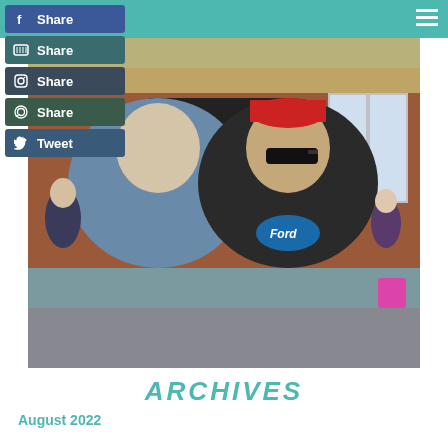Social share buttons: Share (Facebook), Share (YouTube), Share (Instagram), Share (WhatsApp), Tweet (Twitter)
[Figure (photo): Two middle-aged men taking a selfie at a train station. The man on the left wears a denim jacket; the man on the right wears a red cap, sunglasses, and a Ford t-shirt with a black Adidas jacket. Brick walls, directional signs reading Way out, Taxis, Telephone, and Platforms 2 and 3 are visible in the background.]
ARCHIVES
August 2022